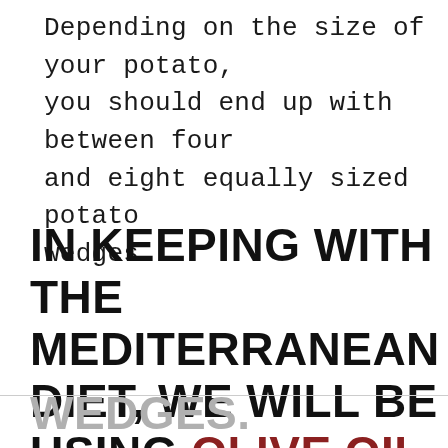Depending on the size of your potato, you should end up with between four and eight equally sized potato wedges.
IN KEEPING WITH THE MEDITERRANEAN DIET, WE WILL BE USING OLIVE OIL WHEN WE BAKE THESE POTATO WEDGES.